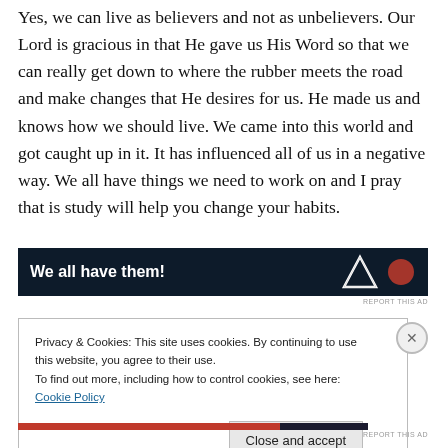Yes, we can live as believers and not as unbelievers. Our Lord is gracious in that He gave us His Word so that we can really get down to where the rubber meets the road and make changes that He desires for us. He made us and knows how we should live. We came into this world and got caught up in it. It has influenced all of us in a negative way. We all have things we need to work on and I pray that is study will help you change your habits.
[Figure (other): Dark navy advertisement banner with white bold text 'We all have them!' and a logo on the right side]
REPORT THIS AD
Privacy & Cookies: This site uses cookies. By continuing to use this website, you agree to their use.
To find out more, including how to control cookies, see here: Cookie Policy
Close and accept
REPORT THIS AD